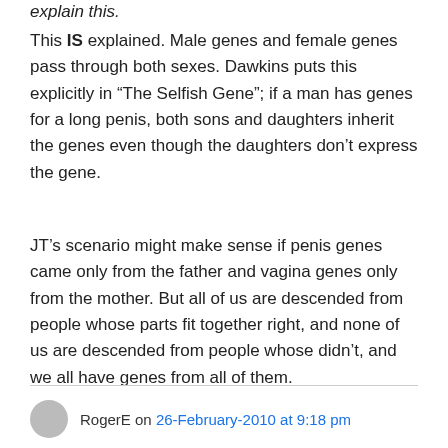explain this.
This IS explained. Male genes and female genes pass through both sexes. Dawkins puts this explicitly in “The Selfish Gene”; if a man has genes for a long penis, both sons and daughters inherit the genes even though the daughters don’t express the gene.
JT’s scenario might make sense if penis genes came only from the father and vagina genes only from the mother. But all of us are descended from people whose parts fit together right, and none of us are descended from people whose didn’t, and we all have genes from all of them.
RogerE on 26-February-2010 at 9:18 pm